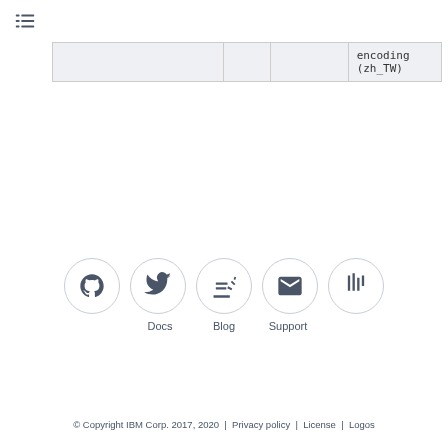≡ (navigation icon)
|  |  |  | encoding (zh_TW) |
[Figure (other): Row of five social/link icons in circles: GitHub, Twitter, Stack Overflow/Docs, Email/Support, Gitter; with labels Docs, Blog, Support below the middle three]
© Copyright IBM Corp. 2017, 2020  |  Privacy policy  |  License  |  Logos